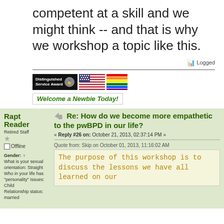competent at a skill and we might think -- and that is why we workshop a topic like this.
Logged
[Figure (illustration): Distinguished Service Award badge, US flag, and rainbow flag badges]
Welcome a Newbie Today!
Rapt Reader
Retired Staff
Offline
Gender: What is your sexual orientation: Straight Who in your life has "personality" issues: Child Relationship status: married
Re: How do we become more empathetic to the pwBPD in our life?
« Reply #26 on: October 21, 2013, 02:37:14 PM »
Quote from: Skip on October 01, 2013, 11:16:02 AM
The purpose of this workshop is to discuss the lessons we have all learned on our